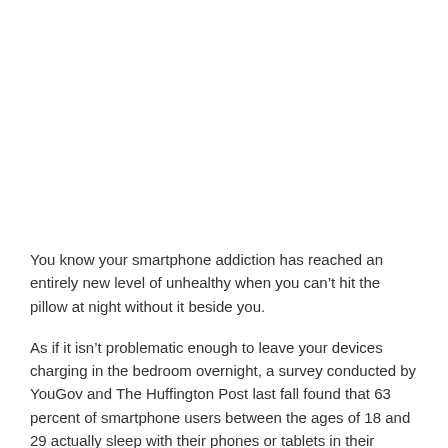You know your smartphone addiction has reached an entirely new level of unhealthy when you can't hit the pillow at night without it beside you.
As if it isn't problematic enough to leave your devices charging in the bedroom overnight, a survey conducted by YouGov and The Huffington Post last fall found that 63 percent of smartphone users between the ages of 18 and 29 actually sleep with their phones or tablets in their